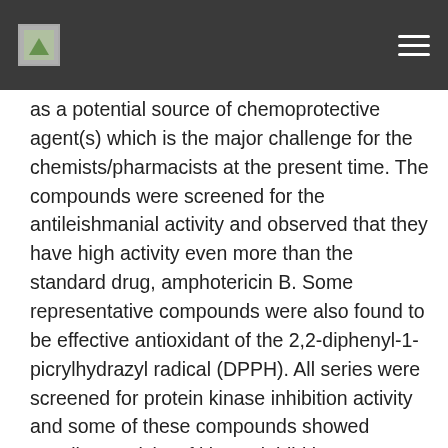[logo] [menu]
as a potential source of chemoprotective agent(s) which is the major challenge for the chemists/pharmacists at the present time. The compounds were screened for the antileishmanial activity and observed that they have high activity even more than the standard drug, amphotericin B. Some representative compounds were also found to be effective antioxidant of the 2,2-diphenyl-1-picrylhydrazyl radical (DPPH). All series were screened for protein kinase inhibition activity and some of these compounds showed excellent activity of kinase inhibition. Semiempirical and DFT studies demonstrate that a large HOMO-LUMO gap indicates a stable molecule with low chemical reactivity, while a small EHOMO is associated with an unstable molecule with high chemical reactivity. The bond angles and bond lengths calculated from theoretical studies were comparable with bond angles and bond lengths observed in the crystal